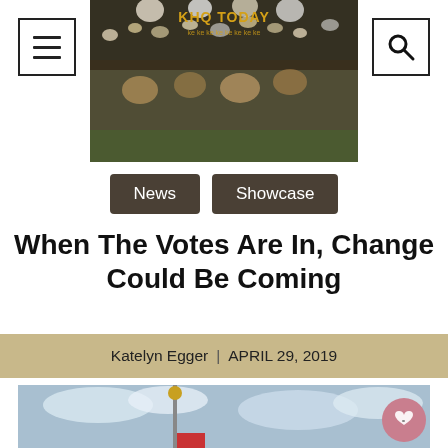[Figure (photo): KHQ Today school newspaper banner with cheerleaders and crowd at a football game, text 'KHQ TODAY' in gold]
News | Showcase
When The Votes Are In, Change Could Be Coming
Katelyn Egger | APRIL 29, 2019
[Figure (photo): Outdoor photo showing a flagpole with a gold ball finial against a partly cloudy blue sky, red flag visible at bottom]